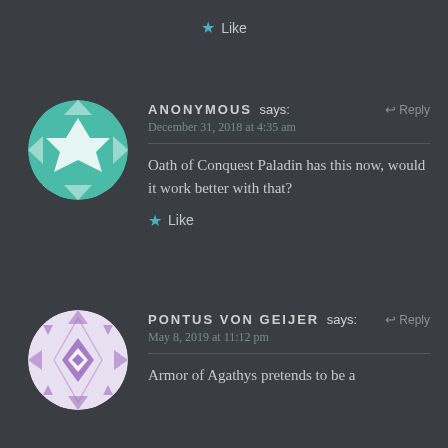★ Like
ANONYMOUS says: ↩ Reply
December 31, 2018 at 4:35 am
Oath of Conquest Paladin has this now, would it work better with that?
★ Like
[Figure (illustration): Circular avatar with teal/green background and white geometric quilt/star pattern for user Anonymous]
PONTUS VON GEIJER says: ↩ Reply
May 8, 2019 at 11:12 pm
Armor of Agathys pretends to be a
[Figure (illustration): Circular avatar with light purple background and purple geometric diamond/quilt pattern for user Pontus Von Geijer]